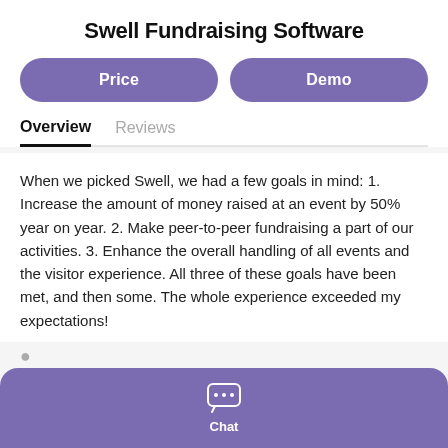Swell Fundraising Software
Price
Demo
Overview
Reviews
When we picked Swell, we had a few goals in mind: 1. Increase the amount of money raised at an event by 50% year on year. 2. Make peer-to-peer fundraising a part of our activities. 3. Enhance the overall handling of all events and the visitor experience. All three of these goals have been met, and then some. The whole experience exceeded my expectations!
Chat